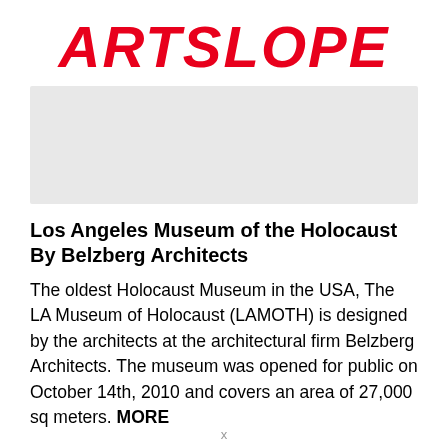ARTSLOPE
[Figure (photo): Gray placeholder image for article photo]
Los Angeles Museum of the Holocaust By Belzberg Architects
The oldest Holocaust Museum in the USA, The LA Museum of Holocaust (LAMOTH) is designed by the architects at the architectural firm Belzberg Architects. The museum was opened for public on October 14th, 2010 and covers an area of 27,000 sq meters. MORE